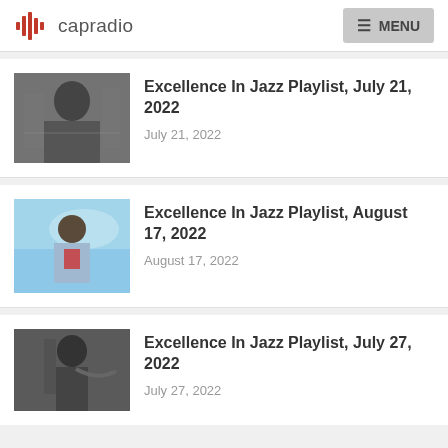capradio | MENU
[Figure (photo): Black and white photo of a jazz musician sitting at a desk writing]
Excellence In Jazz Playlist, July 21, 2022
July 21, 2022
[Figure (photo): Color photo of a man in a light blue suit with red scarf standing near a pool]
Excellence In Jazz Playlist, August 17, 2022
August 17, 2022
[Figure (photo): Black and white photo of a jazz musician playing trumpet]
Excellence In Jazz Playlist, July 27, 2022
July 27, 2022